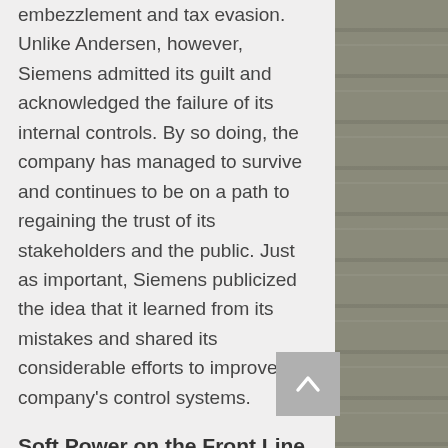embezzlement and tax evasion. Unlike Andersen, however, Siemens admitted its guilt and acknowledged the failure of its internal controls. By so doing, the company has managed to survive and continues to be on a path to regaining the trust of its stakeholders and the public. Just as important, Siemens publicized the idea that it learned from its mistakes and shared its considerable efforts to improve the company's control systems.
Soft Power on the Front Line of Defense
As a consultant for more than 20 years, I have been the hard power